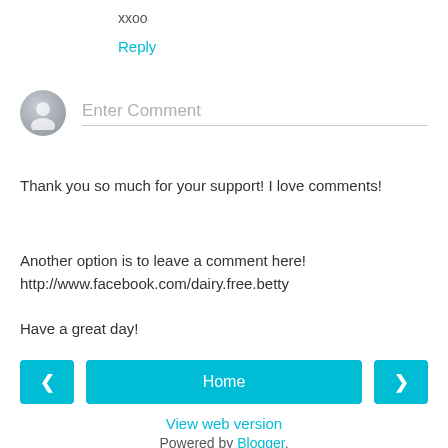xxoo
Reply
[Figure (other): User avatar icon (gray circle with silhouette) next to a comment input field placeholder reading 'Enter Comment' with a bottom border line]
Thank you so much for your support! I love comments!
Another option is to leave a comment here!
http://www.facebook.com/dairy.free.betty
Have a great day!
[Figure (other): Navigation row with three teal buttons: left arrow (<), Home (center wide), right arrow (>)]
View web version
Powered by Blogger.